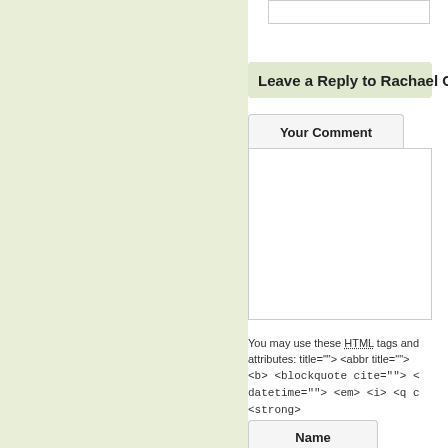Leave a Reply to Rachael C
Your Comment
You may use these HTML tags and attributes: title=""> <abbr title=""> <b> <blockquote cite=""> <cite> <code> <del datetime=""> <em> <i> <q cite=""> <s> <strike> <strong>
Name